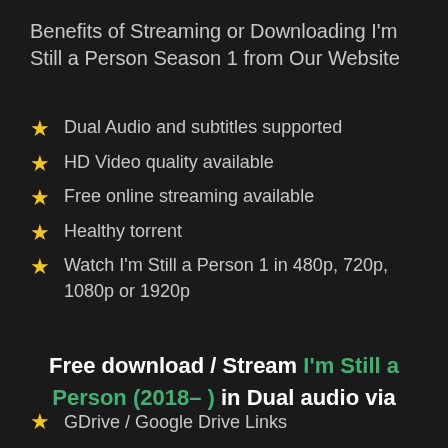Benefits of Streaming or Downloading I'm Still a Person Season 1 from Our Website
Dual Audio and subtitles supported
HD Video quality available
Free online streaming available
Healthy torrent
Watch I'm Still a Person 1 in 480p, 720p, 1080p or 1920p
Free download / Stream I'm Still a Person (2018– ) in Dual audio via
GDrive / Google Drive Links